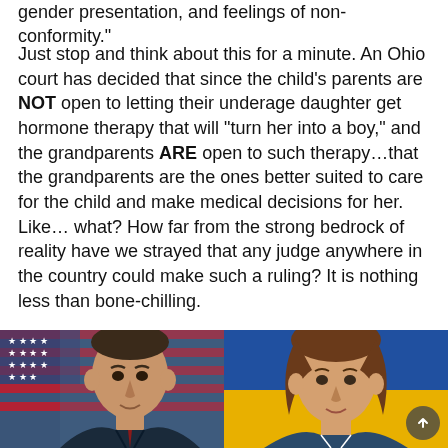gender presentation, and feelings of non-conformity.""
Just stop and think about this for a minute. An Ohio court has decided that since the child's parents are NOT open to letting their underage daughter get hormone therapy that will “turn her into a boy,” and the grandparents ARE open to such therapy…that the grandparents are the ones better suited to care for the child and make medical decisions for her. Like… what? How far from the strong bedrock of reality have we strayed that any judge anywhere in the country could make such a ruling? It is nothing less than bone-chilling.
[Figure (photo): Two side-by-side photos of people (a man on the left against an American flag background, a woman on the right against a blue and yellow background)]